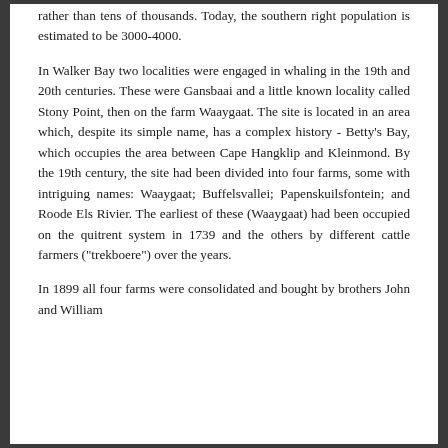rather than tens of thousands. Today, the southern right population is estimated to be 3000-4000.

In Walker Bay two localities were engaged in whaling in the 19th and 20th centuries. These were Gansbaai and a little known locality called Stony Point, then on the farm Waaygaat. The site is located in an area which, despite its simple name, has a complex history - Betty's Bay, which occupies the area between Cape Hangklip and Kleinmond. By the 19th century, the site had been divided into four farms, some with intriguing names: Waaygaat; Buffelsvallei; Papenskuilsfontein; and Roode Els Rivier. The earliest of these (Waaygaat) had been occupied on the quitrent system in 1739 and the others by different cattle farmers ("trekboere") over the years.

In 1899 all four farms were consolidated and bought by brothers John and William